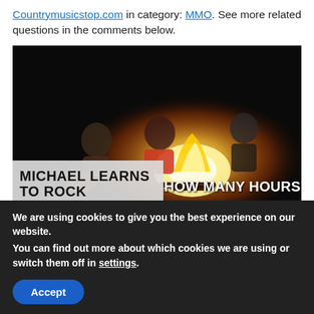Countrymusicstop.com in category: MMO. See more related questions in the comments below.
[Figure (photo): Video thumbnail showing three people sitting around a campfire at night playing music, with text overlay 'MICHAEL LEARNS TO ROCK' on left and 'HOW MANY HOURS' on right]
We are using cookies to give you the best experience on our website.
You can find out more about which cookies we are using or switch them off in settings.
Accept